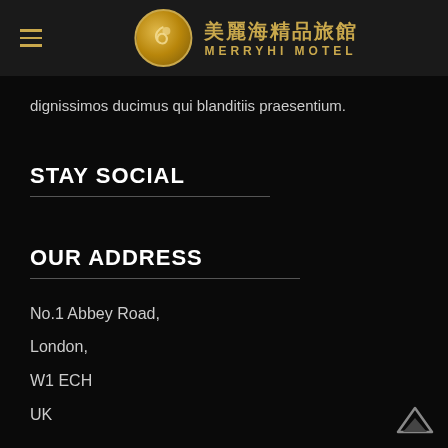美麗海精品旅館 MERRYHI MOTEL
dignissimos ducimus qui blanditiis praesentium.
STAY SOCIAL
OUR ADDRESS
No.1 Abbey Road,
London,
W1 ECH
UK